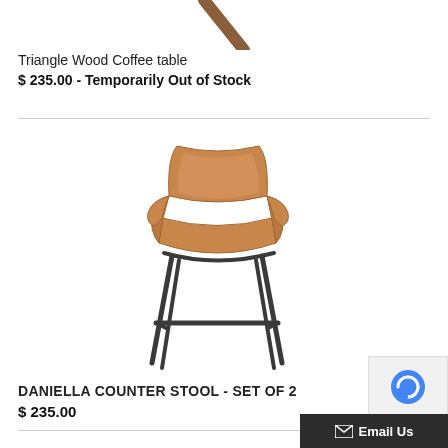[Figure (photo): Partial view of a Triangle Wood Coffee Table product image, showing a small portion at the top of the page]
Triangle Wood Coffee table
$ 235.00 - Temporarily Out of Stock
[Figure (photo): Daniella Counter Stool - a tan/caramel colored upholstered seat with curved back and arms, supported by dark metal legs with footrest]
DANIELLA COUNTER STOOL - SET OF 2
$ 235.00